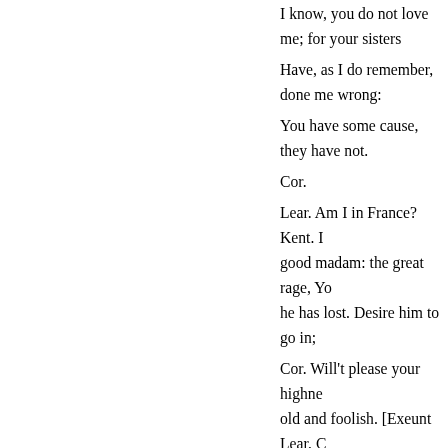I know, you do not love me; for your sisters
Have, as I do remember, done me wrong:
You have some cause, they have not.
Cor.
Lear. Am I in France? Kent. In your own kingdom, sir. Be comforted, good madam: the great rage, You see, is kill'd in him: and yet it is danger To let his own unkindness, so revenges. Desire him to go in; trouble him no more.
Cor. Will't please your highness walk? Lear. You must bear with me: Pray you now, forget and forgive: I am old and foolish. [Exeunt Lear, Cordelia, Physician, and Attendants.
Gent. Holds it true, sir,
Kent.
That the duke of Cornwall's dead?
Most certain, sir.
Gent. Who is conductor of his people?
Kent.
As 'tis said, the bastard Edgar.
No cause, no cause.
The bastard son of Gloster.
Gent.
They say, Edgar,